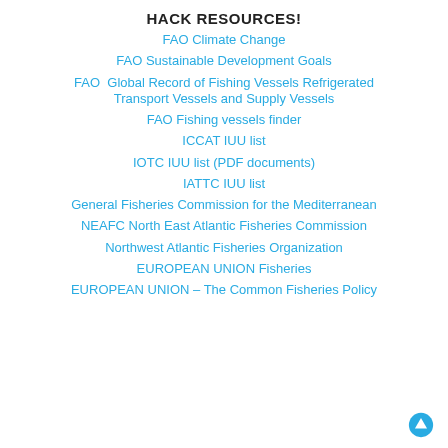HACK RESOURCES!
FAO Climate Change
FAO Sustainable Development Goals
FAO  Global Record of Fishing Vessels Refrigerated Transport Vessels and Supply Vessels
FAO Fishing vessels finder
ICCAT IUU list
IOTC IUU list (PDF documents)
IATTC IUU list
General Fisheries Commission for the Mediterranean
NEAFC North East Atlantic Fisheries Commission
Northwest Atlantic Fisheries Organization
EUROPEAN UNION Fisheries
EUROPEAN UNION – The Common Fisheries Policy